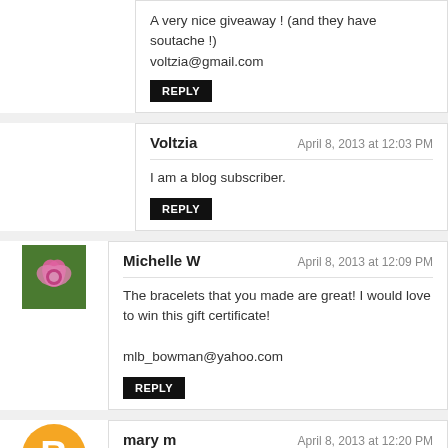A very nice giveaway ! (and they have soutache !) voltzia@gmail.com
Reply
Voltzia — April 8, 2013 at 12:03 PM
I am a blog subscriber.
Reply
[Figure (photo): Flower avatar for Michelle W]
Michelle W — April 8, 2013 at 12:09 PM
The bracelets that you made are great! I would love to win this gift certificate!

mlb_bowman@yahoo.com
Reply
[Figure (logo): Orange Blogger 'B' avatar for mary m]
mary m — April 8, 2013 at 12:20 PM
These look like a lot of fun. I would love the chance to win a gift certificate.